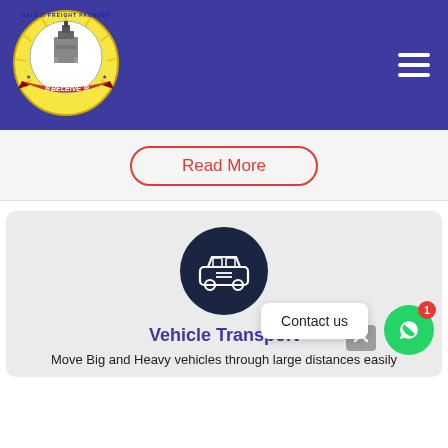[Figure (logo): Balaji Freight Packers & Movers circular logo with temple illustration and red ribbon banner reading BELEIVE]
[Figure (illustration): Dark navy circle with white car/vehicle icon inside]
Read More
Vehicle Transport
Move Big and Heavy vehicles through large distances easily
Contact us
1